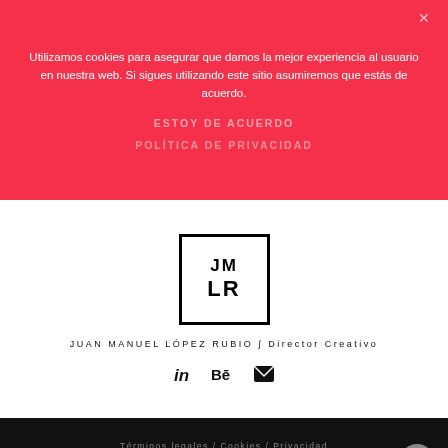Utilizamos cookies para asegurar que damos la mejor experiencia al usuario en nuestra web. Si sigues utilizando este sitio asumiremos que estás de acuerdo.
ESTOY DE ACUERDO
POLÍTICA DE PRIVACIDAD
[Figure (logo): Square bordered logo with initials JM on top line and LR on bottom line]
JUAN MANUEL LÓPEZ RUBIO ∫ Director Creativo
[Figure (infographic): Social media icons: LinkedIn (in), Behance (Bē), and email envelope icon]
Términos legales / Cookies / Privacidad
Copyright © 2020 Juan Manuel López Rubio